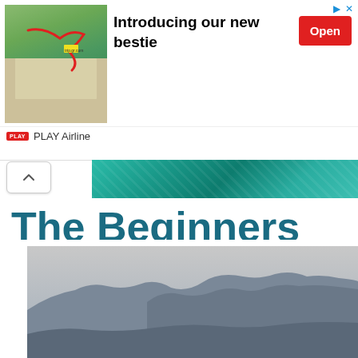[Figure (infographic): PLAY Airline advertisement banner with map image showing route, headline 'Introducing our new bestie', red Open button, and PLAY Airline branding]
[Figure (photo): Teal/turquoise aerial water or foliage image strip]
The Beginners Guide to Living on the Ionian Islands, Greece
[Figure (photo): Photograph of hazy mountainous landscape, likely the Ionian Islands, Greece, with silhouetted hills against grey sky]